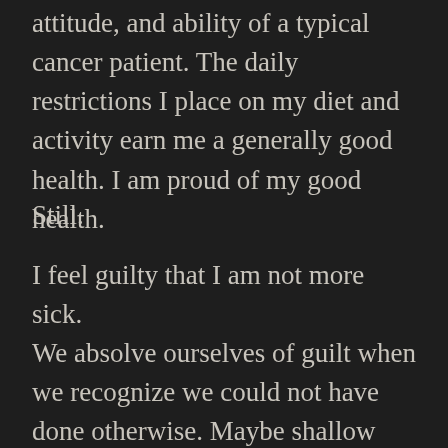attitude, and ability of a typical cancer patient. The daily restrictions I place on my diet and activity earn me a generally good health. I am proud of my good health.
Still.
I feel guilty that I am not more sick.
We absolve ourselves of guilt when we recognize we could not have done otherwise. Maybe shallow guilt turns to deep regret when we recognize we could have done